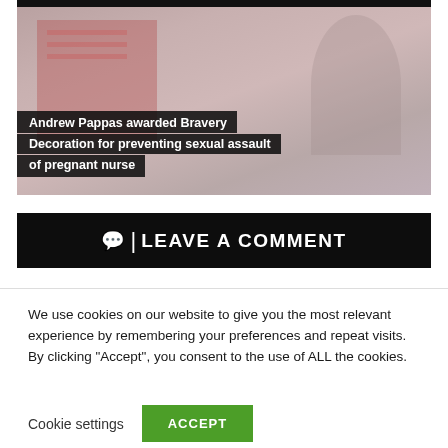[Figure (photo): News article image with dark overlay caption showing Andrew Pappas story]
Andrew Pappas awarded Bravery Decoration for preventing sexual assault of pregnant nurse
💬 | LEAVE A COMMENT
We use cookies on our website to give you the most relevant experience by remembering your preferences and repeat visits. By clicking "Accept", you consent to the use of ALL the cookies.
Cookie settings | ACCEPT